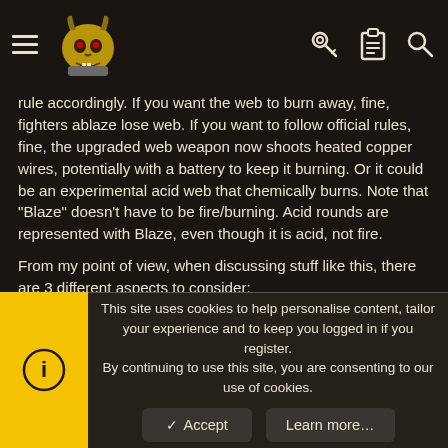Navigation header with hamburger menu, mascot logo, key icon, clipboard icon, search icon
rule accordingly. If you want the web to burn away, fine, fighters ablaze lose web. If you want to follow official rules, fine, the upgraded web weapon now shoots heated copper wires, potentially with a battery to keep it burning. Or it could be an experimental acid web that chemically burns. Note that "Blaze" doesn't have to be fire/burning. Acid rounds are represented with Blaze, even though it is acid, not fire.
From my point of view, when discussing stuff like this, there are 3 different aspects to consider:
1. Balance (does it break the game or is it completely useless?)
2. Functionality (does it work mechanically in the game?)
3. Fluff (as you are asking for, does it make sense)
Personally it's been years ago since I discovered alot of the official
This site uses cookies to help personalise content, tailor your experience and to keep you logged in if you register.
By continuing to use this site, you are consenting to our use of cookies.
Accept
Learn more…